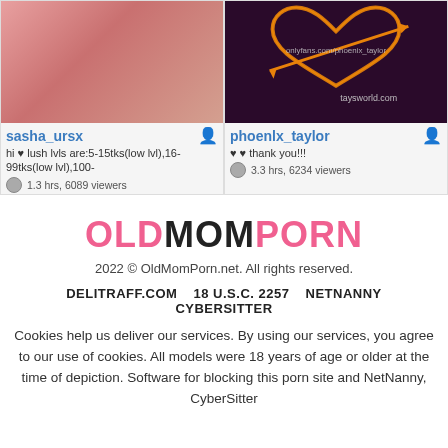[Figure (screenshot): Thumbnail image of pink/rose couch background for sasha_ursx stream]
[Figure (screenshot): Dark purple background with neon orange heart and arrow graphic, text onlyfans.com/phoenix_taylor and taysworld.com, for phoenlx_taylor stream]
sasha_ursx
hi ♥ lush lvls are:5-15tks(low lvl),16-99tks(low lvl),100-
1.3 hrs, 6089 viewers
phoenlx_taylor
♥ ♥ thank you!!!
3.3 hrs, 6234 viewers
OLDMOMPORN
2022 © OldMomPorn.net. All rights reserved.
DELITRAFF.COM   18 U.S.C. 2257   NETNANNY   CYBERSITTER
Cookies help us deliver our services. By using our services, you agree to our use of cookies. All models were 18 years of age or older at the time of depiction. Software for blocking this porn site and NetNanny, CyberSitter